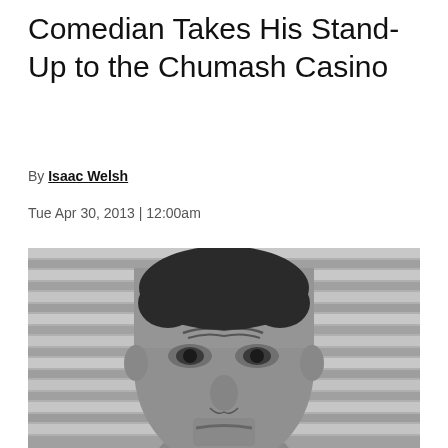Comedian Takes His Stand-Up to the Chumash Casino
By Isaac Welsh
Tue Apr 30, 2013 | 12:00am
[Figure (photo): Black and white close-up photo of a man with a furrowed brow and intense expression, looking directly at the camera. Background shows horizontal lines like a metal shutter or blinds.]